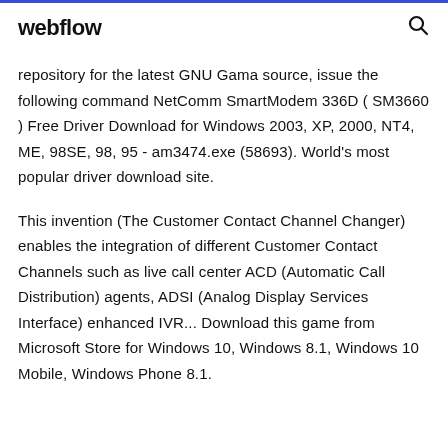webflow
repository for the latest GNU Gama source, issue the following command NetComm SmartModem 336D ( SM3660 ) Free Driver Download for Windows 2003, XP, 2000, NT4, ME, 98SE, 98, 95 - am3474.exe (58693). World's most popular driver download site.
This invention (The Customer Contact Channel Changer) enables the integration of different Customer Contact Channels such as live call center ACD (Automatic Call Distribution) agents, ADSI (Analog Display Services Interface) enhanced IVR... Download this game from Microsoft Store for Windows 10, Windows 8.1, Windows 10 Mobile, Windows Phone 8.1.